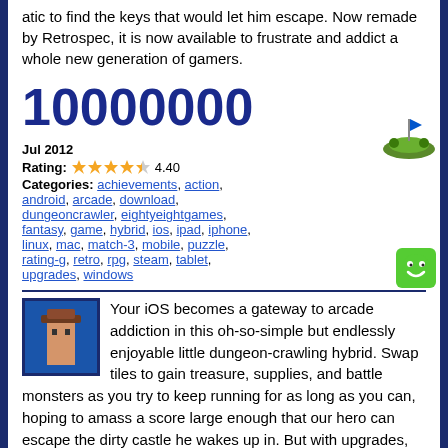atic to find the keys that would let him escape. Now remade by Retrospec, it is now available to frustrate and addict a whole new generation of gamers.
10000000
Jul 2012
Rating: 4.40
Categories: achievements, action, android, arcade, download, dungeoncrawler, eightyeightgames, fantasy, game, hybrid, ios, ipad, iphone, linux, mac, match-3, mobile, puzzle, rating-g, retro, rpg, steam, tablet, upgrades, windows
Your iOS becomes a gateway to arcade addiction in this oh-so-simple but endlessly enjoyable little dungeon-crawling hybrid. Swap tiles to gain treasure, supplies, and battle monsters as you try to keep running for as long as you can, hoping to amass a score large enough that our hero can escape the dirty castle he wakes up in. But with upgrades, achievements, endless enemies and more, why